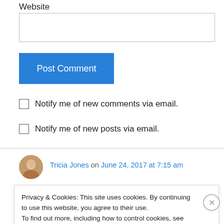Website
Post Comment
Notify me of new comments via email.
Notify me of new posts via email.
Tricia Jones on June 24, 2017 at 7:15 am
Privacy & Cookies: This site uses cookies. By continuing to use this website, you agree to their use.
To find out more, including how to control cookies, see here: Cookie Policy
Close and accept